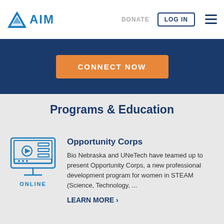AIM | DONATE | LOG IN
CONNECT NOW
Programs & Education
[Figure (illustration): Blue outline icon of a desktop computer monitor with a video play button on screen and a stand, labeled ONLINE below]
Opportunity Corps
Bio Nebraska and UNeTech have teamed up to present Opportunity Corps, a new professional development program for women in STEAM (Science, Technology, ...
LEARN MORE >